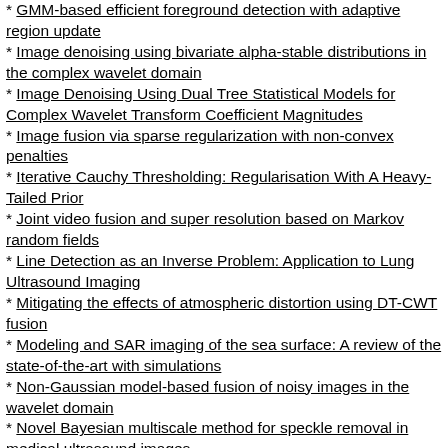GMM-based efficient foreground detection with adaptive region update
Image denoising using bivariate alpha-stable distributions in the complex wavelet domain
Image Denoising Using Dual Tree Statistical Models for Complex Wavelet Transform Coefficient Magnitudes
Image fusion via sparse regularization with non-convex penalties
Iterative Cauchy Thresholding: Regularisation With A Heavy-Tailed Prior
Joint video fusion and super resolution based on Markov random fields
Line Detection as an Inverse Problem: Application to Lung Ultrasound Imaging
Mitigating the effects of atmospheric distortion using DT-CWT fusion
Modeling and SAR imaging of the sea surface: A review of the state-of-the-art with simulations
Non-Gaussian model-based fusion of noisy images in the wavelet domain
Novel Bayesian multiscale method for speckle removal in medical ultrasound images
On Solving SAR Imaging Inverse Problems Using Nonconvex Regularization With a Cauchy-Based Penalty
Reconstruction of compressively sampled ultrasound images using dual prior information